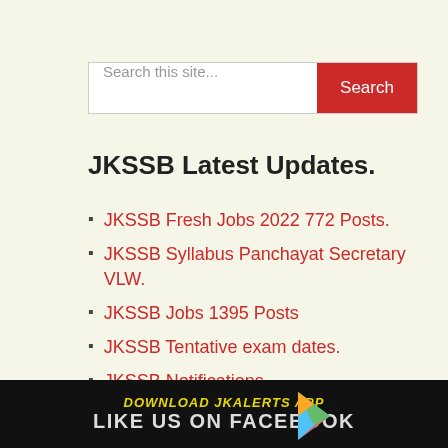[Figure (screenshot): Search bar with text input 'Search this site...' and red 'Search' button]
JKSSB Latest Updates.
JKSSB Fresh Jobs 2022 772 Posts.
JKSSB Syllabus Panchayat Secretary VLW.
JKSSB Jobs 1395 Posts
JKSSB Tentative exam dates.
JKSSB Notifications
JKPSC Notifications
University Notifications
DOWNLOAD JKALERTS APP   LIKE US ON FACEBOOK